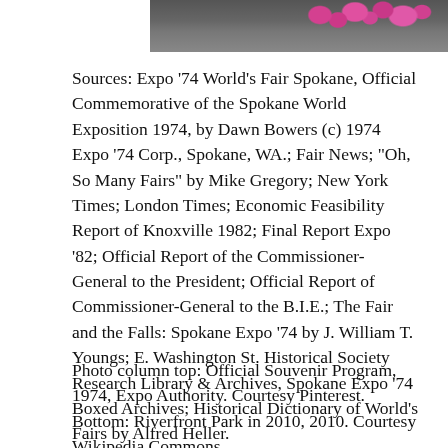[Figure (photo): Partial photo strip at top showing pink/magenta flowers and a dark background, cropped at the top of the page.]
Sources: Expo '74 World's Fair Spokane, Official Commemorative of the Spokane World Exposition 1974, by Dawn Bowers (c) 1974 Expo '74 Corp., Spokane, WA.; Fair News; "Oh, So Many Fairs" by Mike Gregory; New York Times; London Times; Economic Feasibility Report of Knoxville 1982; Final Report Expo '82; Official Report of the Commissioner-General to the President; Official Report of Commissioner-General to the B.I.E.; The Fair and the Falls: Spokane Expo '74 by J. William T. Youngs; E. Washington St. Historical Society Research Library & Archives, Spokane Expo '74 Boxed Archives; Historical Dictionary of World's Fairs by Alfred Heller.
Photo column top: Official Souvenir Program, 1974, Expo Authority. Courtesy Pinterest. Bottom: Riverfront Park in 2010, 2010. Courtesy Wikipedia Commons.